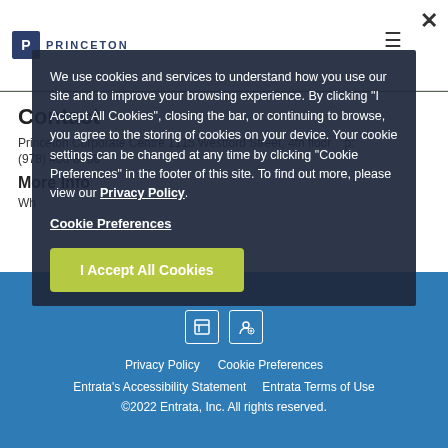Princeton
We use cookies and services to understand how you use our site and to improve your browsing experience. By clicking "I Accept All Cookies", closing the bar, or continuing to browse, you agree to the storing of cookies on your device. Your cookie settings can be changed at any time by clicking "Cookie Preferences" in the footer of this site. To find out more, please view our Privacy Policy.
Cookie Preferences
I Accept All Cookies
Contact
Princeton Corporate Centre 1115 Westford Street, 4th floor   p:
(978) 458-8700
More Info
Privacy Policy   Cookie Preferences   Entrata's Accessibility Statement   Entrata Terms of Use   ©2022 Entrata, Inc. All rights reserved.